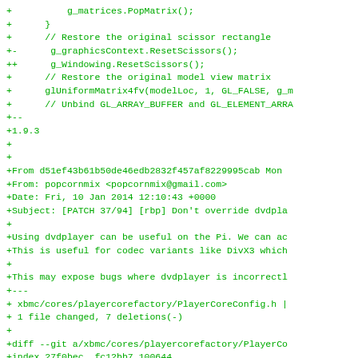diff/patch code block showing git patch lines including g_matrices.PopMatrix(), restore scissor rectangle, g_graphicsContext.ResetScissors(), g_Windowing.ResetScissors(), restore model view matrix, glUniformMatrix4fv, unbind GL_ARRAY_BUFFER and GL_ELEMENT_ARRAY, version 1.9.3, git commit from popcornmix, date Fri 10 Jan 2014, subject PATCH 37/94 rbp Don't override dvdplayer, dvdplayer useful on Pi for codec variants like DivX3, may expose bugs where dvdplayer is incorrectly, diff --git xbmc/cores/playercorefactory/PlayerCoreConfig.h, index 27f0bec..fc12bb7 100644, --- a/xbmc/cores/playercorefactory/PlayerCoreCoreConfi, +++ b/xbmc/cores/playercorefactory/PlayerCoreConfi, @@ -88,14 +88,7 @@ friend class CPlayerCoreFactory